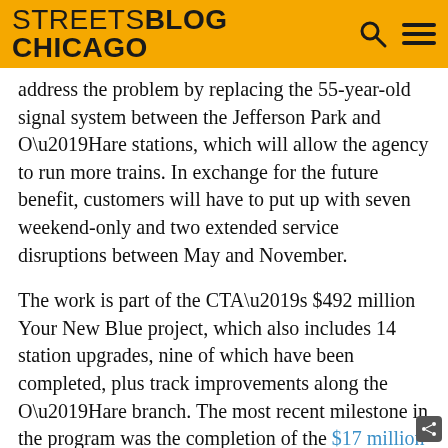STREETSBLOG CHICAGO
address the problem by replacing the 55-year-old signal system between the Jefferson Park and O’Hare stations, which will allow the agency to run more trains. In exchange for the future benefit, customers will have to put up with seven weekend-only and two extended service disruptions between May and November.
The work is part of the CTA’s $492 million Your New Blue project, which also includes 14 station upgrades, nine of which have been completed, plus track improvements along the O’Hare branch. The most recent milestone in the program was the completion of the $17 million Belmont station rehab, which included a large Jetsons-esque rain canopy and a new